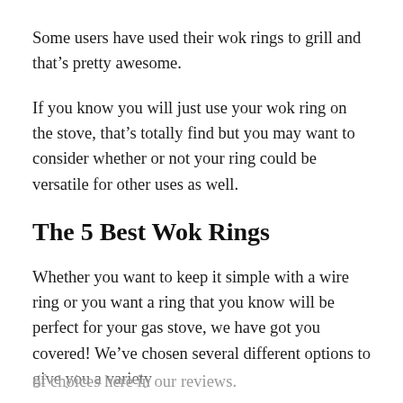Some users have used their wok rings to grill and that's pretty awesome.
If you know you will just use your wok ring on the stove, that's totally find but you may want to consider whether or not your ring could be versatile for other uses as well.
The 5 Best Wok Rings
Whether you want to keep it simple with a wire ring or you want a ring that you know will be perfect for your gas stove, we have got you covered! We've chosen several different options to give you a variety of choices here in our reviews.